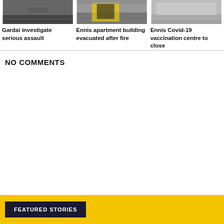[Figure (photo): Photo of a road/assault scene, dark tones]
Gardaí investigate serious assault
[Figure (photo): Photo of apartment building with fire engine, yellow tones]
Ennis apartment building evacuated after fire
[Figure (photo): Photo of a building exterior, light grey tones]
Ennis Covid-19 vaccination centre to close
NO COMMENTS
FEATURED STORIES